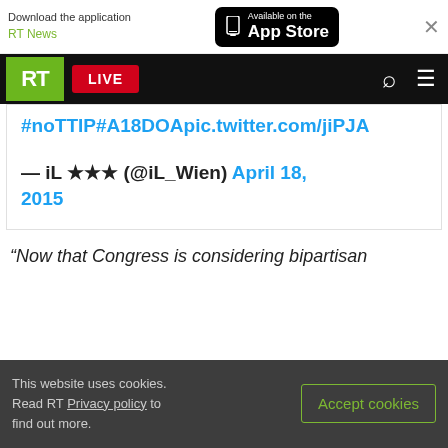Download the application RT News — Available on the App Store
RT LIVE
#noTTIP#A18DOApic.twitter.com/jiPJA
— iL ★★★ (@iL_Wien) April 18, 2015
“Now that Congress is considering bipartisan
This website uses cookies. Read RT Privacy policy to find out more.